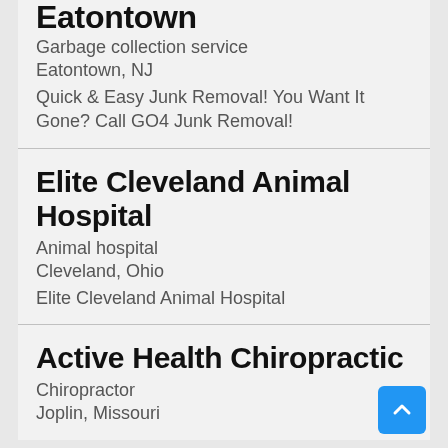Eatontown
Garbage collection service
Eatontown, NJ
Quick & Easy Junk Removal! You Want It Gone? Call GO4 Junk Removal!
Elite Cleveland Animal Hospital
Animal hospital
Cleveland, Ohio
Elite Cleveland Animal Hospital
Active Health Chiropractic
Chiropractor
Joplin, Missouri